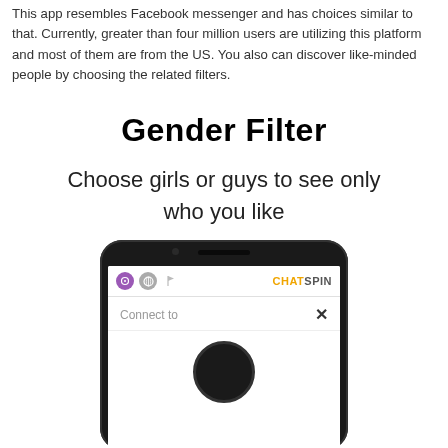This app resembles Facebook messenger and has choices similar to that. Currently, greater than four million users are utilizing this platform and most of them are from the US. You also can discover like-minded people by choosing the related filters.
Gender Filter
Choose girls or guys to see only who you like
[Figure (screenshot): A smartphone displaying the Chatspin app interface with a top navigation bar showing location, globe, and flag icons on the left, and the CHATSPIN logo on the right, followed by a 'Connect to' section with a close X button, and a circular avatar at the bottom.]